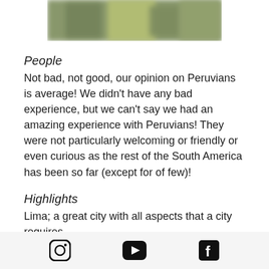[Figure (photo): Blurred photo strip at top of page showing greenery/outdoor scene]
People
Not bad, not good, our opinion on Peruvians is average! We didn't have any bad experience, but we can't say we had an amazing experience with Peruvians! They were not particularly welcoming or friendly or even curious as the rest of the South America has been so far (except for of few)!
Highlights
Lima; a great city with all aspects that a city requires.
Instagram | YouTube | Facebook social icons